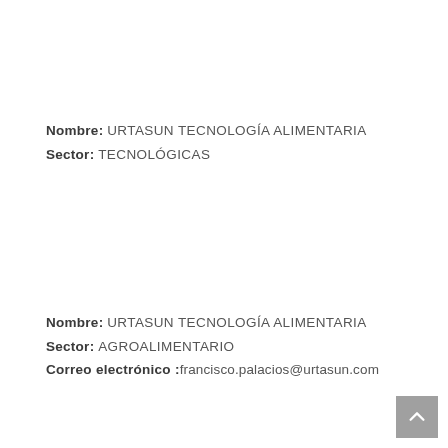Nombre: URTASUN TECNOLOGÍA ALIMENTARIA
Sector: TECNOLÓGICAS
Nombre: URTASUN TECNOLOGÍA ALIMENTARIA
Sector: AGROALIMENTARIO
Correo electrónico : francisco.palacios@urtasun.com